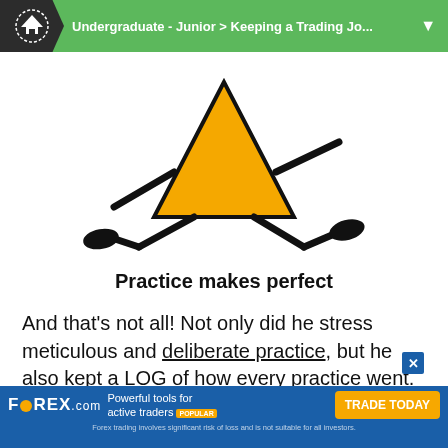Undergraduate - Junior > Keeping a Trading Jo...
[Figure (illustration): Cartoon stick figure running with a yellow triangular body/hat, wearing black shoes, depicted in motion against white background. Caption below reads 'Practice makes perfect'.]
Practice makes perfect
And that’s not all! Not only did he stress meticulous and deliberate practice, but he also kept a LOG of how every practice went.
Coach Wooden would refer to his practice
[Figure (screenshot): FOREX.com advertisement banner: 'Powerful tools for active traders POPULAR' with 'TRADE TODAY' button. Disclaimer: 'Forex trading involves significant risk of loss and is not suitable for all investors.']